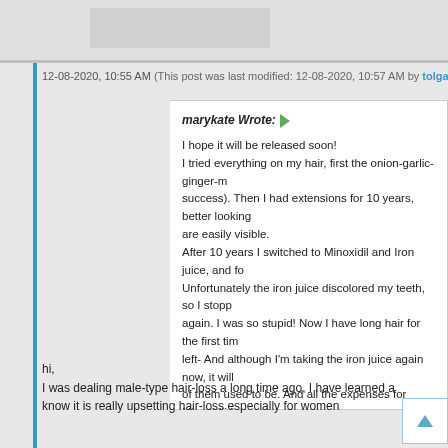[Figure (other): Avatar placeholder image at top of post]
12-08-2020, 10:55 AM (This post was last modified: 12-08-2020, 10:57 AM by tolgao
marykate Wrote: I hope it will be released soon! I tried everything on my hair, first the onion-garlic-ginger-m success). Then I had extensions for 10 years, better looking are easily visible. After 10 years I switched to Minoxidil and Iron juice, and fo Unfortunately the iron juice discolored my teeth, so I stopp again. I was so stupid! Now I have long hair for the first tim left- And although I'm taking the iron juice again now, it will of them used to be. And all the expenses for Minoxidil hav
hi,
I was dealing male-type hair-loss a long time ago, I have learned a know it is really upsetting hair-loss especially for women